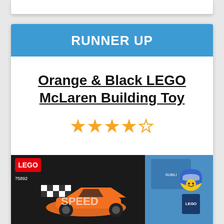RUNNER UP
Orange & Black LEGO McLaren Building Toy
★★★★☆ (4 out of 5 stars)
[Figure (photo): LEGO Speed Champions McLaren product box showing a racing car and a LEGO minifigure of a racing driver]